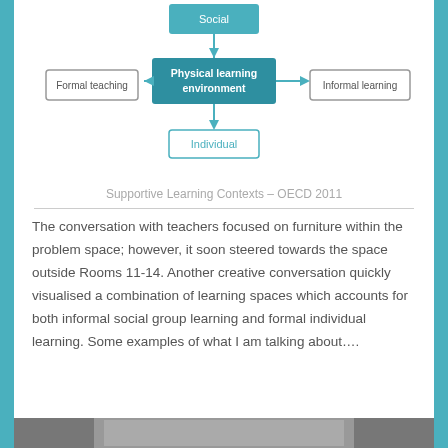[Figure (flowchart): Flowchart showing Physical learning environment at center with arrows pointing to/from: Social (up), Individual (down), Formal teaching (left), Informal learning (right)]
Supportive Learning Contexts – OECD 2011
The conversation with teachers focused on furniture within the problem space; however, it soon steered towards the space outside Rooms 11-14. Another creative conversation quickly visualised a combination of learning spaces which accounts for both informal social group learning and formal individual learning. Some examples of what I am talking about….
[Figure (photo): Partial photo strip visible at the bottom of the page]